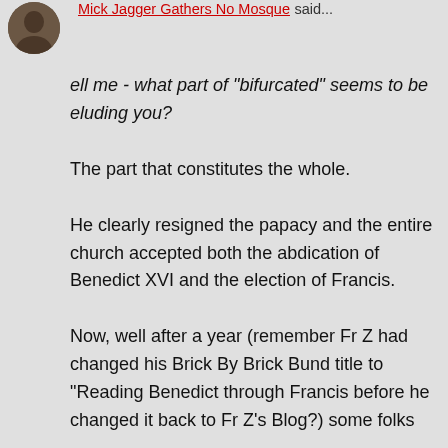Mick Jagger Gathers No Mosque said...
ell me - what part of "bifurcated" seems to be eluding you?
The part that constitutes the whole.
He clearly resigned the papacy and the entire church accepted both the abdication of Benedict XVI and the election of Francis.
Now, well after a year (remember Fr Z had changed his Brick By Brick Bund title to "Reading Benedict through Francis before he changed it back to Fr Z's Blog?) some folks